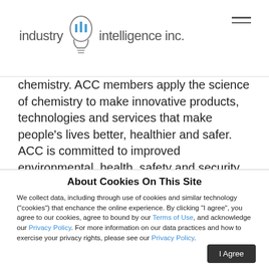industry iii intelligence inc.
chemistry. ACC members apply the science of chemistry to make innovative products, technologies and services that make people's lives better, healthier and safer. ACC is committed to improved environmental, health, safety and security performance through Responsible Care®; common sense advocacy addressing major public policy issues; and health and environmental research and product testing. ACC members and chemistry companies are among the largest investors in research and development, and are advancing products,
About Cookies On This Site
We collect data, including through use of cookies and similar technology ("cookies") that enchance the online experience. By clicking "I agree", you agree to our cookies, agree to bound by our Terms of Use, and acknowledge our Privacy Policy. For more information on our data practices and how to exercise your privacy rights, please see our Privacy Policy.